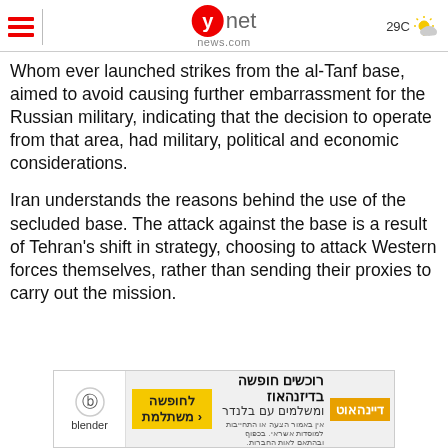ynet news.com | 29C
Whom ever launched strikes from the al-Tanf base, aimed to avoid causing further embarrassment for the Russian military, indicating that the decision to operate from that area, had military, political and economic considerations.
Iran understands the reasons behind the use of the secluded base. The attack against the base is a result of Tehran's shift in strategy, choosing to attack Western forces themselves, rather than sending their proxies to carry out the mission.
[Figure (photo): Advertisement banner for Blender/Dayanahut travel booking service with Hebrew text]